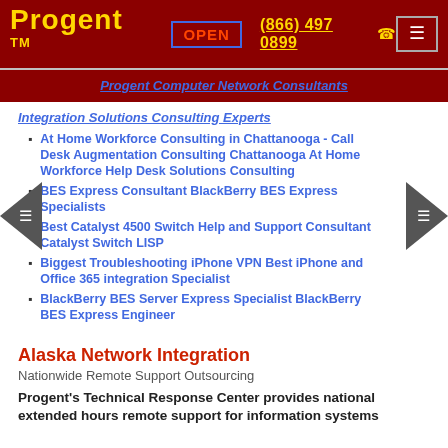Progent ™  OPEN  (866) 497 0899
Progent Computer Network Consultants
Integration Solutions Consulting Experts
At Home Workforce Consulting in Chattanooga - Call Desk Augmentation Consulting Chattanooga At Home Workforce Help Desk Solutions Consulting
BES Express Consultant BlackBerry BES Express Specialists
Best Catalyst 4500 Switch Help and Support Consultant Catalyst Switch LISP
Biggest Troubleshooting iPhone VPN Best iPhone and Office 365 integration Specialist
BlackBerry BES Server Express Specialist BlackBerry BES Express Engineer
Alaska Network Integration
Nationwide Remote Support Outsourcing
Progent's Technical Response Center provides national extended hours remote support for information systems